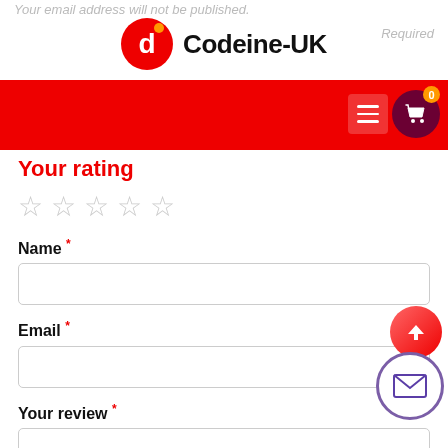Your email address will not be published. Required
[Figure (logo): Codeine-UK logo with red circular icon and bold text 'Codeine-UK']
[Figure (screenshot): Red navigation bar with hamburger menu button and dark red cart icon with badge showing 0]
Your rating
★ ★ ★ ★ ★ (5 empty star rating)
Name *
Email *
Your review *